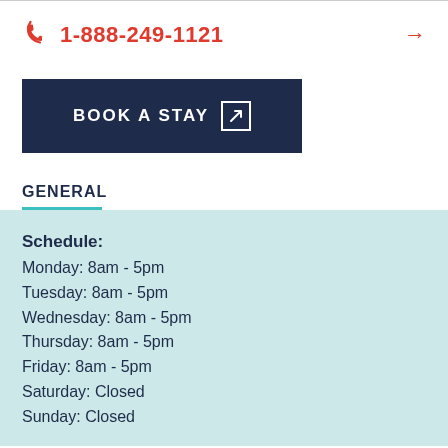1-888-249-1121
BOOK A STAY
GENERAL
Schedule:
Monday: 8am - 5pm
Tuesday: 8am - 5pm
Wednesday: 8am - 5pm
Thursday: 8am - 5pm
Friday: 8am - 5pm
Saturday: Closed
Sunday: Closed